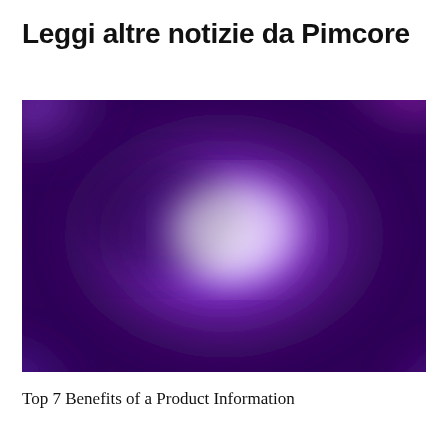Leggi altre notizie da Pimcore
[Figure (illustration): Abstract blurred purple and magenta gradient image with a bright white glowing center, transitioning to deep violet and dark purple at the edges]
Top 7 Benefits of a Product Information